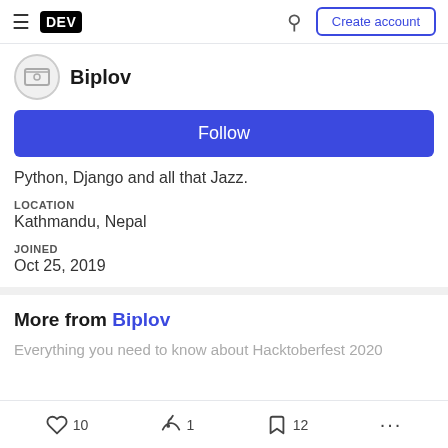DEV | Create account
Biplov
Follow
Python, Django and all that Jazz.
LOCATION
Kathmandu, Nepal
JOINED
Oct 25, 2019
More from Biplov
Everything you need to know about Hacktoberfest 2020
10  1  12  ...